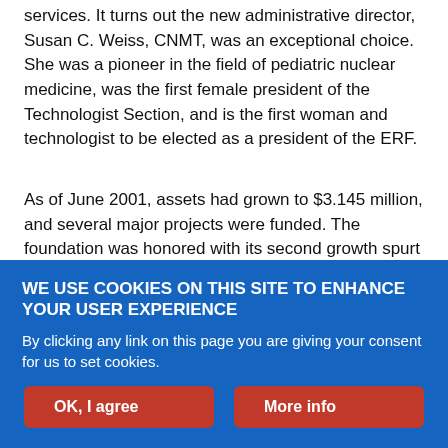services. It turns out the new administrative director, Susan C. Weiss, CNMT, was an exceptional choice. She was a pioneer in the field of pediatric nuclear medicine, was the first female president of the Technologist Section, and is the first woman and technologist to be elected as a president of the ERF.
As of June 2001, assets had grown to $3.145 million, and several major projects were funded. The foundation was honored with its second growth spurt in 2007 by a $6.7 million bequest from the Anger estate. I find it noteworthy that Hal O. Anger was the first awardee of the Cassen Prize, recognized for his invention of the scintillation camera in 1994.
WE USE COOKIES ON THIS SITE TO ENHANCE YOUR USER EXPERIENCE
By clicking any link on this page you are giving your consent for us to set cookies.